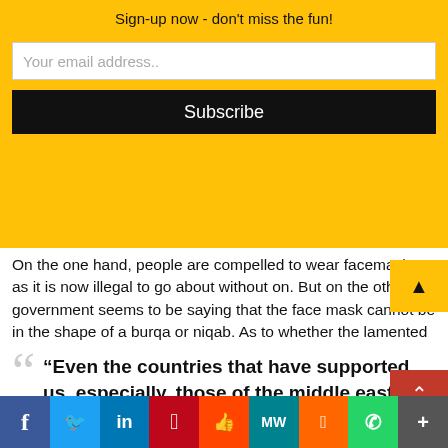Sign-up now - don't miss the fun!
Your email address..
Subscribe
On the one hand, people are compelled to wear facemasks as it is now illegal to go about without on. But on the other, government seems to be saying that the face mask cannot be in the shape of a burqa or niqab. As to whether the lamented issue of identification for security purpose is served when people are covering their faces with surgical or any other mask is a question that can be answered by some one of brilliant intelligence as Sarath Weerasekera alone.
“Even the countries that have supported us, especially, those of the middle east were not coming to our support on the basis of the ban imposed on burial o
f  in  p  Reddit  MW  M  WhatsApp  More